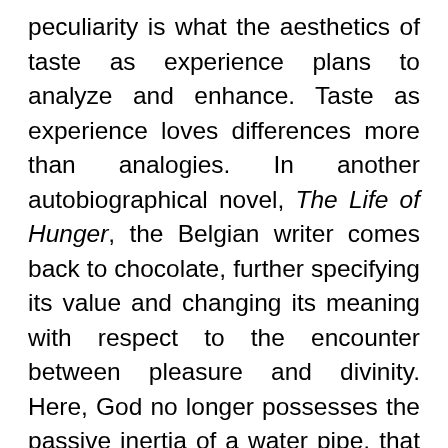peculiarity is what the aesthetics of taste as experience plans to analyze and enhance. Taste as experience loves differences more than analogies. In another autobiographical novel, The Life of Hunger, the Belgian writer comes back to chocolate, further specifying its value and changing its meaning with respect to the encounter between pleasure and divinity. Here, God no longer possesses the passive inertia of a water pipe, that is, purely neutral and tasteless matter, but God actually becomes a gustative relationship, an encounter between the perceiver and the matter perceived. “Is it not enough to have some very good chocolate in your mouth, not only to believe in God, but also to feel that one is